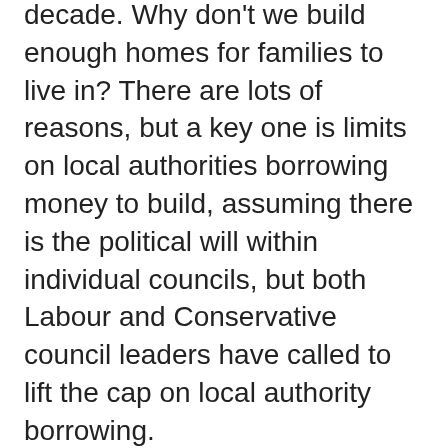decade. Why don't we build enough homes for families to live in? There are lots of reasons, but a key one is limits on local authorities borrowing money to build, assuming there is the political will within individual councils, but both Labour and Conservative council leaders have called to lift the cap on local authority borrowing.
But the answer isn't just to build more homes; the types of homes we build matter too. We need vastly more social housing, not only for families on waiting lists, but to stop housing benefit from propping up high rents. Building more homes for living rent would also enable those on lower incomes to actually save towards home ownership. We also need some form of market